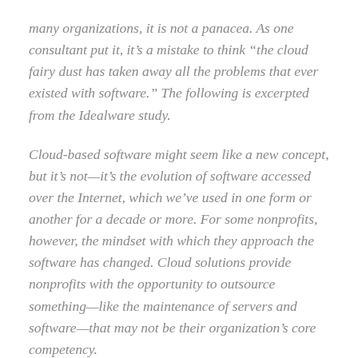many organizations, it is not a panacea. As one consultant put it, it’s a mistake to think “the cloud fairy dust has taken away all the problems that ever existed with software.” The following is excerpted from the Idealware study.
Cloud-based software might seem like a new concept, but it’s not—it’s the evolution of software accessed over the Internet, which we’ve used in one form or another for a decade or more. For some nonprofits, however, the mindset with which they approach the software has changed. Cloud solutions provide nonprofits with the opportunity to outsource something—like the maintenance of servers and software—that may not be their organization’s core competency.